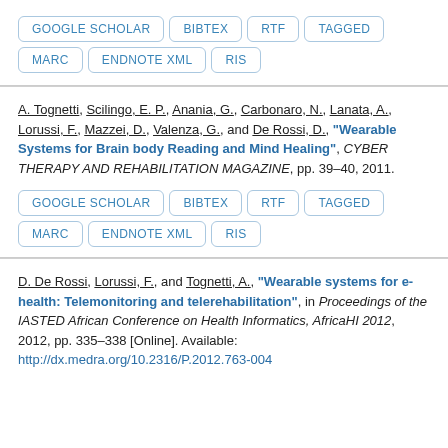Buttons: GOOGLE SCHOLAR, BIBTEX, RTF, TAGGED, MARC, ENDNOTE XML, RIS
A. Tognetti, Scilingo, E. P., Anania, G., Carbonaro, N., Lanata, A., Lorussi, F., Mazzei, D., Valenza, G., and De Rossi, D., "Wearable Systems for Brain body Reading and Mind Healing", CYBER THERAPY AND REHABILITATION MAGAZINE, pp. 39–40, 2011.
Buttons: GOOGLE SCHOLAR, BIBTEX, RTF, TAGGED, MARC, ENDNOTE XML, RIS
D. De Rossi, Lorussi, F., and Tognetti, A., "Wearable systems for e-health: Telemonitoring and telerehabilitation", in Proceedings of the IASTED African Conference on Health Informatics, AfricaHI 2012, 2012, pp. 335–338 [Online]. Available: http://dx.medra.org/10.2316/P.2012.763-004